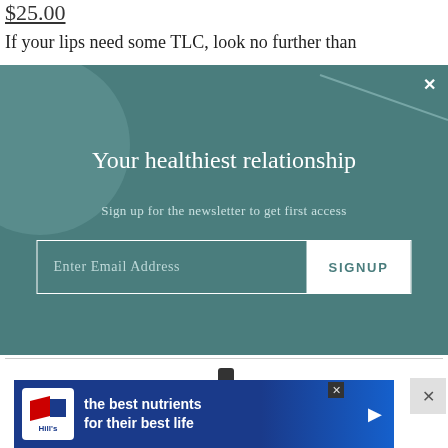$25.00
If your lips need some TLC, look no further than
[Figure (screenshot): Email newsletter signup modal overlay with teal/dark green background, decorative circle on left, title 'Your healthiest relationship', subtitle 'Sign up for the newsletter to get first access', email input field and SIGNUP button, close X button top right]
[Figure (photo): Product image of makeup/cosmetic items (eyeliner or similar) shown partially at bottom]
[Figure (infographic): Hill's pet food advertisement banner reading 'the best nutrients for their best life' with Hill's logo and play button]